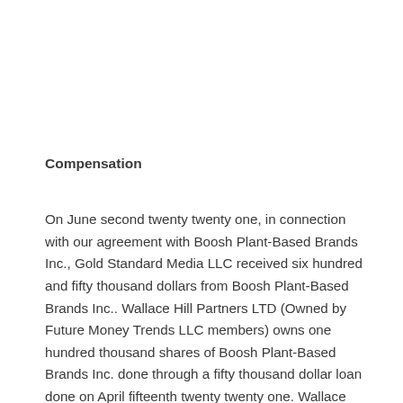Compensation
On June second twenty twenty one, in connection with our agreement with Boosh Plant-Based Brands Inc., Gold Standard Media LLC received six hundred and fifty thousand dollars from Boosh Plant-Based Brands Inc.. Wallace Hill Partners LTD (Owned by Future Money Trends LLC members) owns one hundred thousand shares of Boosh Plant-Based Brands Inc. done through a fifty thousand dollar loan done on April fifteenth twenty twenty one. Wallace Hill Partners LTD (Owned by Future Money